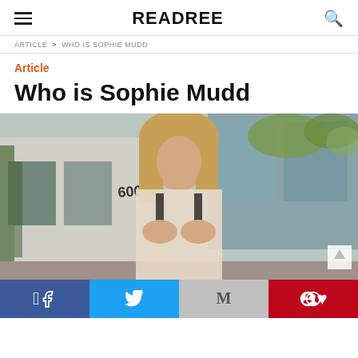READREE
ARTICLE > WHO IS SOPHIE MUDD
Article
Who is Sophie Mudd
[Figure (photo): Young blonde woman posing outdoors in front of a modern building with the number 606, holding her hands to her chest, wearing a light-colored outfit.]
Facebook | Twitter | Gmail | Pinterest social share bar